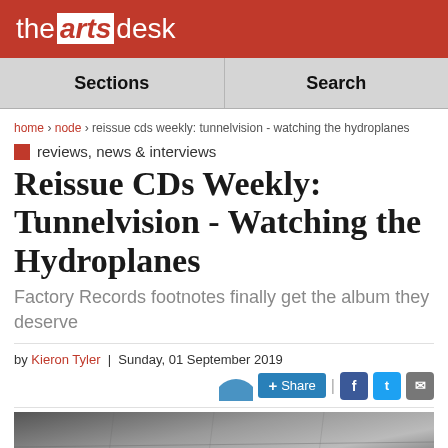the arts desk
Sections | Search
home > node > reissue cds weekly: tunnelvision - watching the hydroplanes
reviews, news & interviews
Reissue CDs Weekly: Tunnelvision - Watching the Hydroplanes
Factory Records footnotes finally get the album they deserve
by Kieron Tyler | Sunday, 01 September 2019
[Figure (photo): Black and white photograph used as article header image]